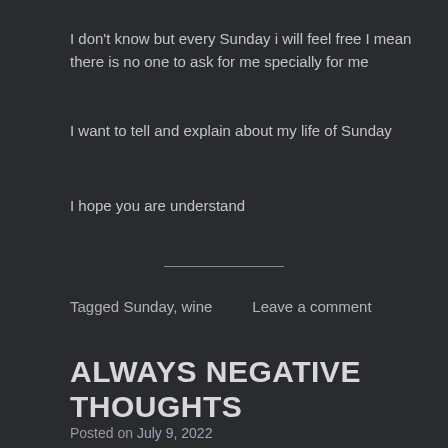I don't know but every Sunday i will feel free I mean there is no one to ask for me specially for me
I want to tell and explain about my life of Sunday
I hope you are understand
Tagged Sunday, wine      Leave a comment
ALWAYS NEGATIVE THOUGHTS
Posted on July 9, 2022
I don't know what happened to me